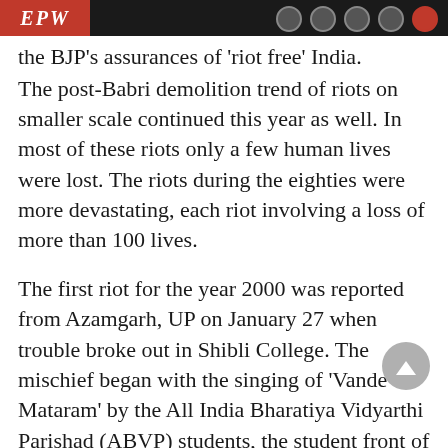EPW
the BJP's assurances of 'riot free' India. The post-Babri demolition trend of riots on smaller scale continued this year as well. In most of these riots only a few human lives were lost. The riots during the eighties were more devastating, each riot involving a loss of more than 100 lives.
The first riot for the year 2000 was reported from Azamgarh, UP on January 27 when trouble broke out in Shibli College. The mischief began with the singing of 'Vande Mataram' by the All India Bharatiya Vidyarthi Parishad (ABVP) students, the student front of BJP. Other students refused to sing and the controversy took adangerous turn when many people were injured and many shops looted and burnt. Later, two persons were stabbed in Mubarakpur in Azamgarh district. In these